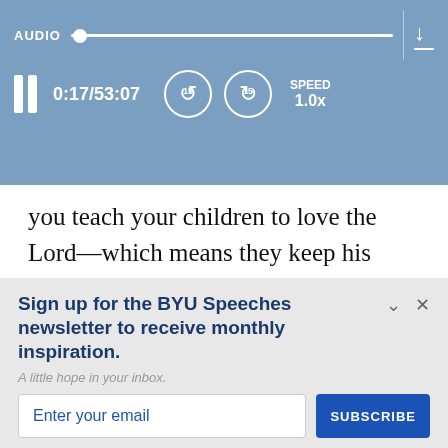[Figure (screenshot): Audio player bar with play/pause controls, time display 0:17/53:07, rewind/fast-forward 15s buttons, speed control 1.0x, and a download icon]
you teach your children to love the Lord—which means they keep his commandments—they will be thankful, happy, and successful and so will you, for this is your mission.
Sign up for the BYU Speeches newsletter to receive monthly inspiration.
A little hope in your inbox.
Enter your email
SUBSCRIBE